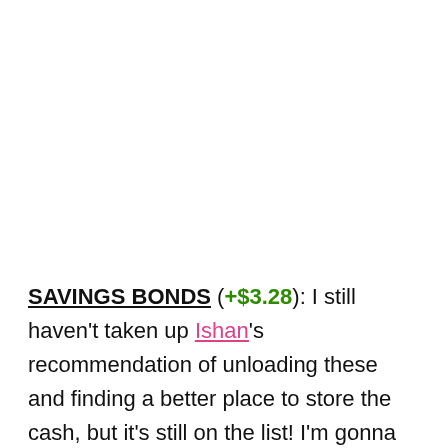SAVINGS BONDS (+$3.28): I still haven't taken up Ishan's recommendation of unloading these and finding a better place to store the cash, but it's still on the list! I'm gonna do my best to knock it out this month…just takes so LONG